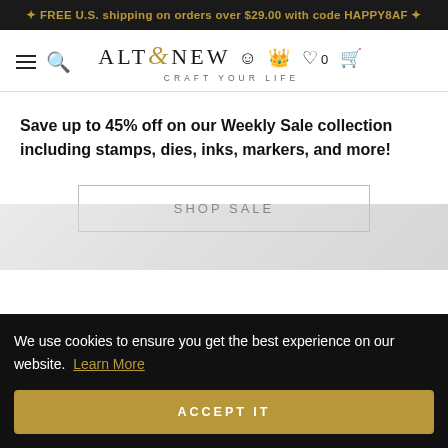✦ FREE U.S. shipping on orders over $29.00 with code HAPPY8AF ✦
[Figure (logo): Altenew logo with decorative ampersand in gold, tagline CRAFT YOUR LIFE, navigation icons for menu, search, account, rewards, wishlist (0), and cart]
Save up to 45% off on our Weekly Sale collection including stamps, dies, inks, markers, and more!
SHOP SALE
We use cookies to ensure you get the best experience on our website.  Learn More
ACCEPT IT